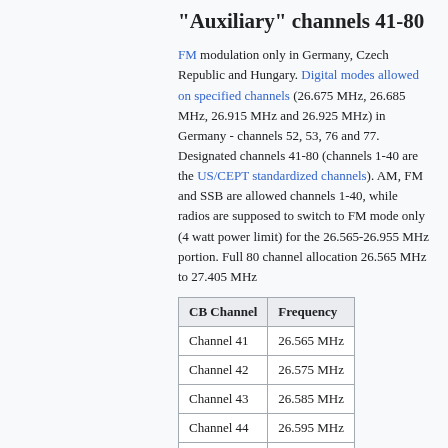"Auxiliary" channels 41-80
FM modulation only in Germany, Czech Republic and Hungary. Digital modes allowed on specified channels (26.675 MHz, 26.685 MHz, 26.915 MHz and 26.925 MHz) in Germany - channels 52, 53, 76 and 77. Designated channels 41-80 (channels 1-40 are the US/CEPT standardized channels). AM, FM and SSB are allowed channels 1-40, while radios are supposed to switch to FM mode only (4 watt power limit) for the 26.565-26.955 MHz portion. Full 80 channel allocation 26.565 MHz to 27.405 MHz
| CB Channel | Frequency |
| --- | --- |
| Channel 41 | 26.565 MHz |
| Channel 42 | 26.575 MHz |
| Channel 43 | 26.585 MHz |
| Channel 44 | 26.595 MHz |
| Channel 45 | 26.605 MHz |
| Channel 46 | 26.615 MHz |